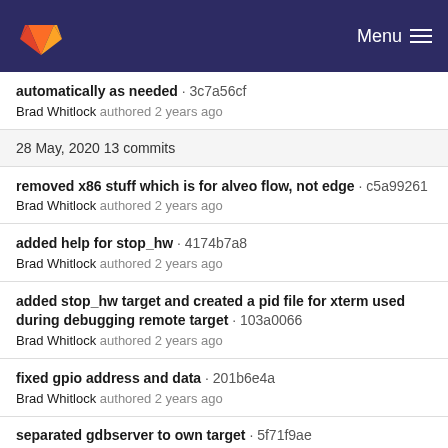GitLab · Menu
automatically as needed · 3c7a56cf
Brad Whitlock authored 2 years ago
28 May, 2020 13 commits
removed x86 stuff which is for alveo flow, not edge · c5a99261
Brad Whitlock authored 2 years ago
added help for stop_hw · 4174b7a8
Brad Whitlock authored 2 years ago
added stop_hw target and created a pid file for xterm used during debugging remote target · 103a0066
Brad Whitlock authored 2 years ago
fixed gpio address and data · 201b6e4a
Brad Whitlock authored 2 years ago
separated gdbserver to own target · 5f71f9ae